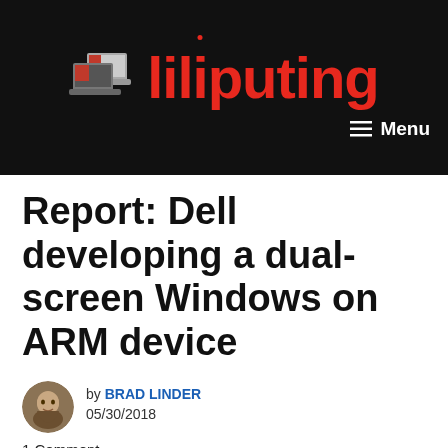[Figure (logo): Liliputing website logo on black header bar with laptop icon and red text, plus hamburger Menu button]
Report: Dell developing a dual-screen Windows on ARM device
by BRAD LINDER 05/30/2018
1 Comment
Rumor has it that Microsoft is working on some sort of dual-display device with an ARM-based